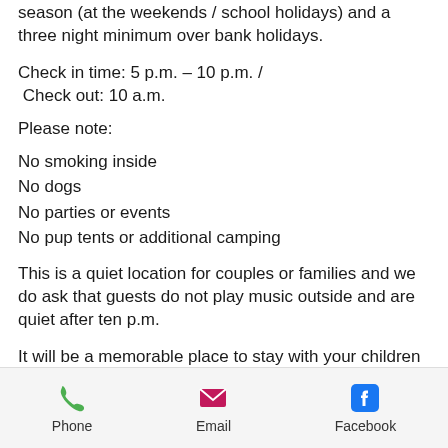season (at the weekends / school holidays) and a three night minimum over bank holidays.
Check in time: 5 p.m. – 10 p.m. / Check out: 10 a.m.
Please note:
No smoking inside
No dogs
No parties or events
No pup tents or additional camping
This is a quiet location for couples or families and we do ask that guests do not play music outside and are quiet after ten p.m.
It will be a memorable place to stay with your children but we do ask you to
Phone  Email  Facebook